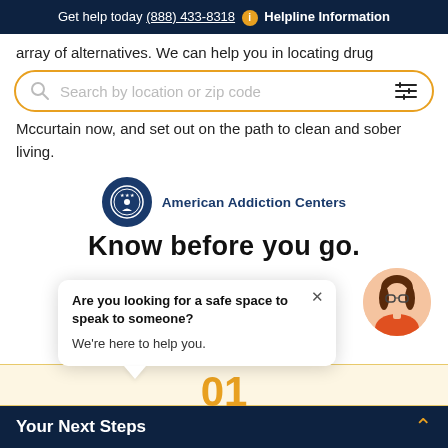Get help today (888) 433-8318 i Helpline Information
array of alternatives. We can help you in locating drug
[Figure (screenshot): Search bar with orange border, placeholder text 'Search by location or zip code', search icon on left and filter icon on right]
Mccurtain now, and set out on the path to clean and sober living.
[Figure (logo): American Addiction Centers logo — circular dark blue emblem with stars and figure, next to text 'American Addiction Centers']
Know before you go.
[Figure (illustration): Popup chat bubble: 'Are you looking for a safe space to speak to someone? We're here to help you.' with close X button, and avatar of a woman with brown hair and glasses in orange top]
01
How rehab works
Your Next Steps